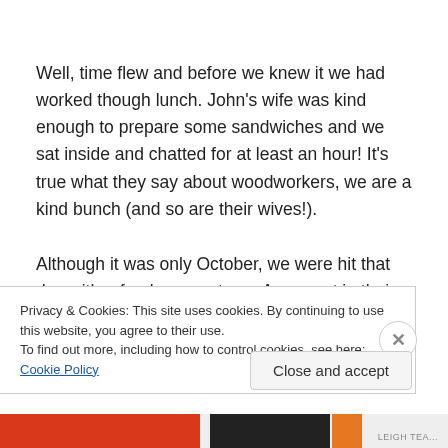Well, time flew and before we knew it we had worked though lunch. John's wife was kind enough to prepare some sandwiches and we sat inside and chatted for at least an hour!  It's true what they say about woodworkers, we are a kind bunch (and so are their wives!).
Although it was only October, we were hit that day with a freak snow storm.   As we sat in their house the snow continued to come down.  I looked out and decided I better
Privacy & Cookies: This site uses cookies. By continuing to use this website, you agree to their use.
To find out more, including how to control cookies, see here: Cookie Policy
Close and accept